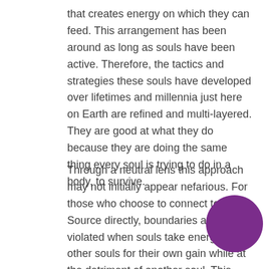that creates energy on which they can feed. This arrangement has been around as long as souls have been active. Therefore, the tactics and strategies these souls have developed over lifetimes and millennia just here on Earth are refined and multi-layered. They are good at what they do because they are doing the same thing every soul is trying to do in a body, to survive.
Through a neutral lens this approach may not initially appear nefarious. For those who choose to connect to Source directly, boundaries are violated when souls take energy from other souls for their own gain while at the detriment of another soul. This feeding of energy has been happening at every level along the chain for thousands of years. There are the souls we encounter in our daily lives that we may be able to identify, but what about those who are in higher levels of power and prestige? How did they
[Figure (illustration): A solid purple circle overlapping the bottom-right corner of the second paragraph text.]